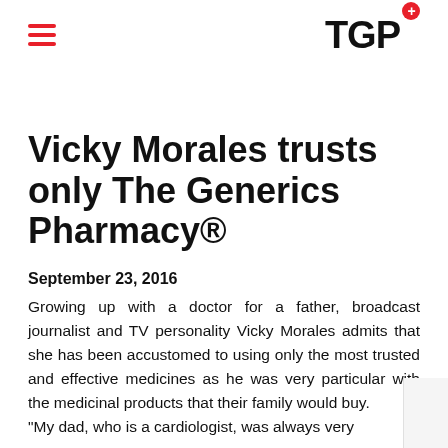TGP+
Vicky Morales trusts only The Generics Pharmacy®
September 23, 2016
Growing up with a doctor for a father, broadcast journalist and TV personality Vicky Morales admits that she has been accustomed to using only the most trusted and effective medicines as he was very particular with the medicinal products that their family would buy. "My dad, who is a cardiologist, was always very